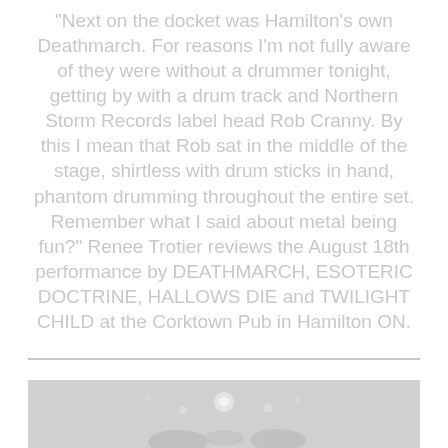“Next on the docket was Hamilton’s own Deathmarch. For reasons I’m not fully aware of they were without a drummer tonight, getting by with a drum track and Northern Storm Records label head Rob Cranny. By this I mean that Rob sat in the middle of the stage, shirtless with drum sticks in hand, phantom drumming throughout the entire set. Remember what I said about metal being fun?” Renee Trotier reviews the August 18th performance by DEATHMARCH, ESOTERIC DOCTRINE, HALLOWS DIE and TWILIGHT CHILD at the Corktown Pub in Hamilton ON.
[Figure (photo): A partially visible photograph at the bottom of the page, showing a dark scene with light spots, likely a concert or performance image.]